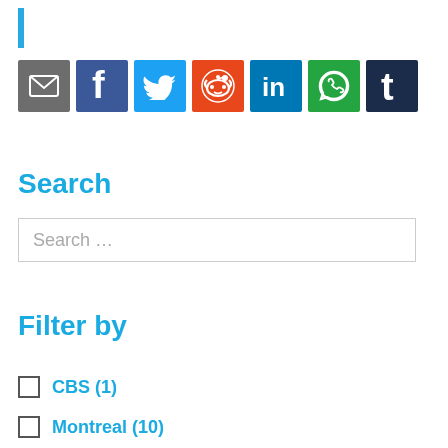[Figure (infographic): Blue vertical bar accent]
[Figure (infographic): Row of 7 social media sharing icons: Email (grey), Facebook (blue), Twitter (light blue), Reddit (orange), LinkedIn (teal), WhatsApp (green), Tumblr (dark blue)]
Search
Search …
Filter by
CBS (1)
Montreal (10)